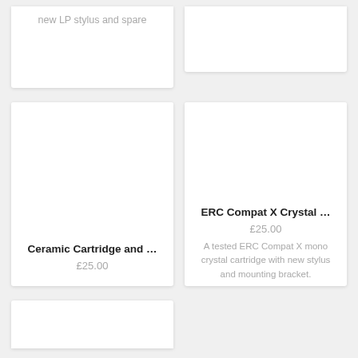new LP stylus and spare
Ceramic Cartridge and ...
£25.00
ERC Compat X Crystal ...
£25.00
A tested ERC Compat X mono crystal cartridge with new stylus and mounting bracket.